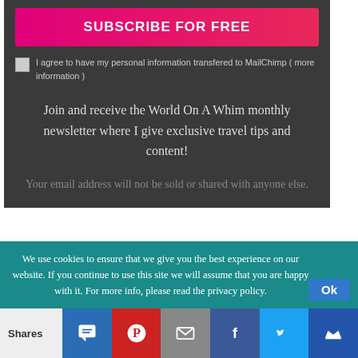SUBSCRIBE FOR FREE
I agree to have my personal information transfered to MailChimp ( more information )
Join and receive the World On A Whim monthly newsletter where I give exclusive travel tips and content!
Your email address will not be sold or shared with anyone else.
We use cookies to ensure that we give you the best experience on our website. If you continue to use this site we will assume that you are happy with it. For more info, please read the privacy policy.
Shares